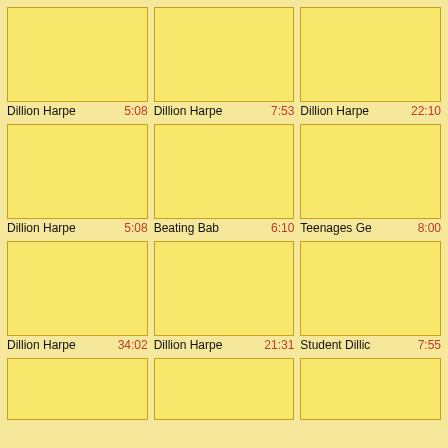[Figure (thumbnail): Yellow thumbnail image placeholder]
Dillion Harpe 5:08
[Figure (thumbnail): Yellow thumbnail image placeholder]
Dillion Harpe 7:53
[Figure (thumbnail): Yellow thumbnail image placeholder]
Dillion Harpe 22:10
[Figure (thumbnail): Yellow thumbnail image placeholder]
Dillion Harpe 5:08
[Figure (thumbnail): Yellow thumbnail image placeholder]
Beating Bab 6:10
[Figure (thumbnail): Yellow thumbnail image placeholder]
Teenages Ge 8:00
[Figure (thumbnail): Yellow thumbnail image placeholder]
Dillion Harpe 34:02
[Figure (thumbnail): Yellow thumbnail image placeholder]
Dillion Harpe 21:31
[Figure (thumbnail): Yellow thumbnail image placeholder]
Student Dillic 7:55
[Figure (thumbnail): Yellow thumbnail image placeholder (partial)]
[Figure (thumbnail): Yellow thumbnail image placeholder (partial)]
[Figure (thumbnail): Yellow thumbnail image placeholder (partial)]